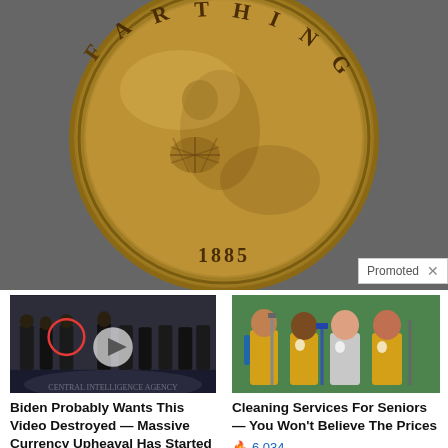[Figure (photo): Close-up photograph of an 1885 British farthing coin showing the reverse side with Britannia seated, the word FARTHING around the top, and the date 1885 at the bottom.]
Promoted X
[Figure (photo): Thumbnail image of a group of men in suits standing in front of a CIA floor seal, with a red circle highlighting one person and a video play button overlay.]
Biden Probably Wants This Video Destroyed — Massive Currency Upheaval Has Started
🔥 175,593
[Figure (photo): Thumbnail image of four women in yellow cleaning uniforms holding cleaning equipment.]
Cleaning Services For Seniors — You Won't Believe The Prices
🔥 6,034